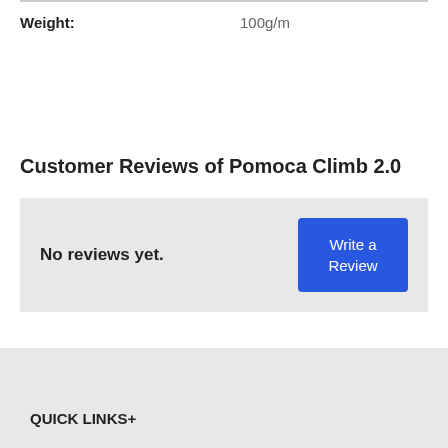Weight: 100g/m
Customer Reviews of Pomoca Climb 2.0
No reviews yet.
QUICK LINKS+